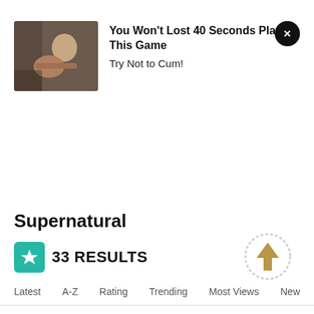[Figure (photo): Advertisement banner image showing two people]
You Won't Lost 40 Seconds Playing This Game
Try Not to Cum!
Supernatural
33 RESULTS
[Figure (other): Scroll up arrow icon inside dotted circle]
Latest   A-Z   Rating   Trending   Most Views   New